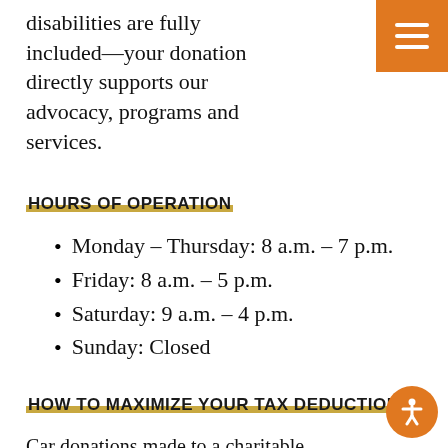disabilities are fully included—your donation directly supports our advocacy, programs and services.
HOURS OF OPERATION
Monday – Thursday: 8 a.m. – 7 p.m.
Friday: 8 a.m. – 5 p.m.
Saturday: 9 a.m. – 4 p.m.
Sunday: Closed
HOW TO MAXIMIZE YOUR TAX DEDUCTION
Car donations made to a charitable nonprofit organization are tax-deductible.  The best practice is to consult with a tax professional on